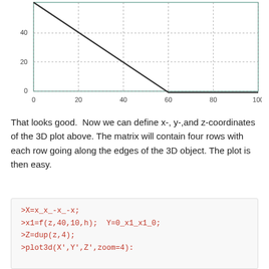[Figure (continuous-plot): A 2D line plot showing a line that starts high (around y=50) at x=0 and descends steeply to approximately y=0 at x=60, then remains near 0. X-axis runs from 0 to 100, Y-axis from 0 to 40+. Dotted gridlines at x=0,20,40,60,80,100 and y=0,20,40.]
That looks good.  Now we can define x-, y-,and z-coordinates of the 3D plot above. The matrix will contain four rows with each row going along the edges of the 3D object. The plot is then easy.
[Figure (screenshot): Code block with red monospace text on light gray background showing Scilab/Octave commands: >X=x_x_-x_-x; >x1=f(z,40,10,h); Y=0_x1_x1_0; >Z=dup(z,4); >plot3d(X',Y',Z',zoom=4):]